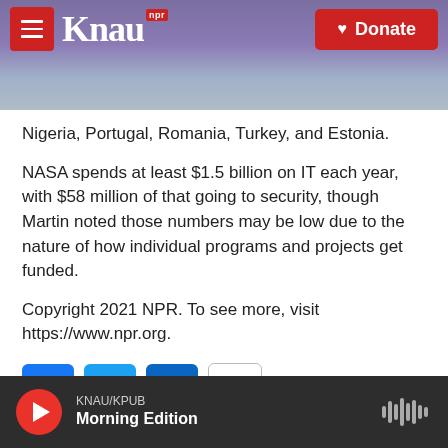KNAU NPR | Donate
Nigeria, Portugal, Romania, Turkey, and Estonia.
NASA spends at least $1.5 billion on IT each year, with $58 million of that going to security, though Martin noted those numbers may be low due to the nature of how individual programs and projects get funded.
Copyright 2021 NPR. To see more, visit https://www.npr.org.
[Figure (infographic): Social sharing buttons: Facebook, Twitter, LinkedIn, Email]
KNAU/KPUB Morning Edition